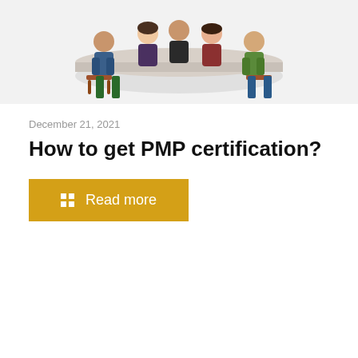[Figure (illustration): Illustration of people sitting around a table in a meeting or classroom setting, with chairs and a table visible, on a light gray background.]
December 21, 2021
How to get PMP certification?
Read more